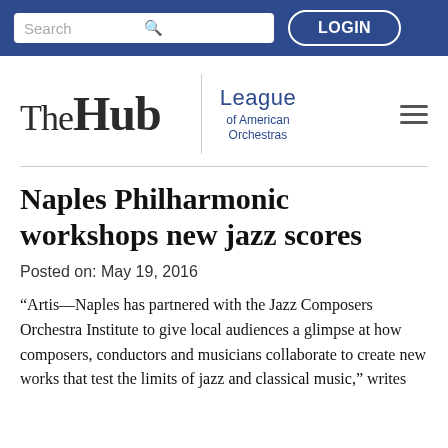Search | LOGIN
[Figure (logo): The Hub | League of American Orchestras logo with hamburger menu]
Naples Philharmonic workshops new jazz scores
Posted on: May 19, 2016
“Artis—Naples has partnered with the Jazz Composers Orchestra Institute to give local audiences a glimpse at how composers, conductors and musicians collaborate to create new works that test the limits of jazz and classical music,” writes